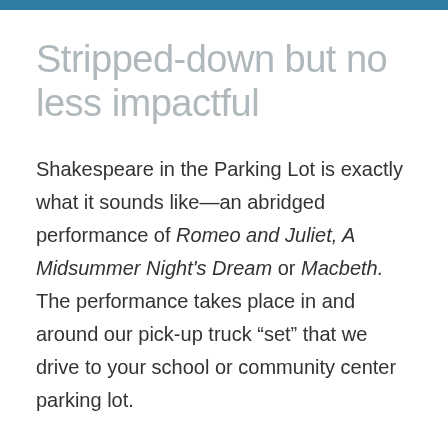Stripped-down but no less impactful
Shakespeare in the Parking Lot is exactly what it sounds like—an abridged performance of Romeo and Juliet, A Midsummer Night's Dream or Macbeth. The performance takes place in and around our pick-up truck “set” that we drive to your school or community center parking lot.